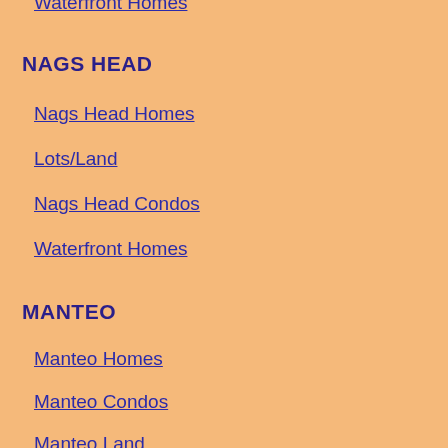Waterfront Homes
NAGS HEAD
Nags Head Homes
Lots/Land
Nags Head Condos
Waterfront Homes
MANTEO
Manteo Homes
Manteo Condos
Manteo Land
COLINGTON
Colington Homes